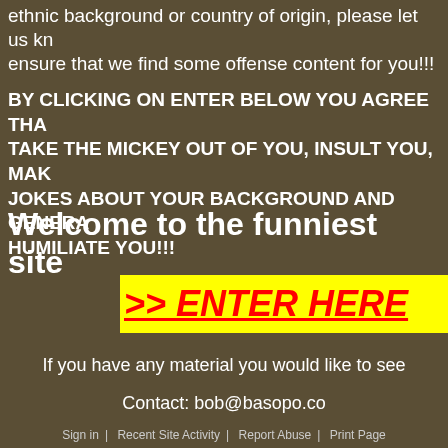ethnic background or country of origin, please let us know to ensure that we find some offense content for you!!!
BY CLICKING ON ENTER BELOW YOU AGREE THAT WE TAKE THE MICKEY OUT OF YOU, INSULT YOU, MAKE JOKES ABOUT YOUR BACKGROUND AND GENERALLY HUMILIATE YOU!!!
Welcome to the funniest site
>> ENTER HERE
If you have any material you would like to see
Contact: bob@basopo.co
Sign in | Recent Site Activity | Report Abuse | Print Page